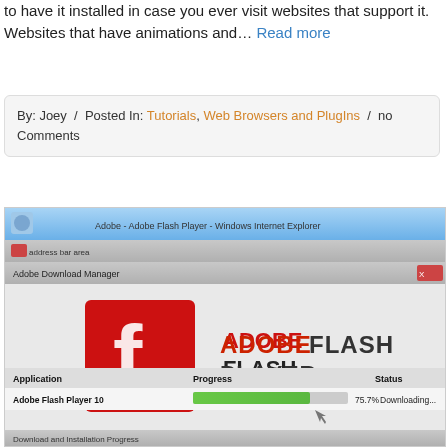to have it installed in case you ever visit websites that support it. Websites that have animations and… Read more
By: Joey / Posted In: Tutorials, Web Browsers and PlugIns / no Comments
[Figure (screenshot): Adobe Flash Player download manager screenshot showing the Adobe Flash Player logo and a download progress bar at 75.7% with status 'Downloading...' The browser title bar reads 'Adobe - Adobe Flash Player - Windows Internet Explorer'. Bottom bar shows 'Download and Installation Progress'.]